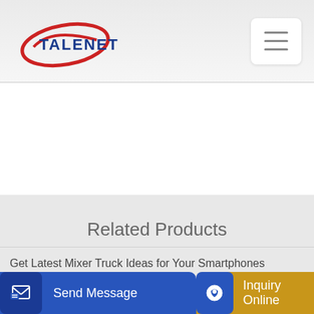TALENET
Related Products
Get Latest Mixer Truck Ideas for Your Smartphones
Second-Hand 12m3 Concrete Mixer Truck G10K-2 China Mobile
Send Message
Inquiry Online